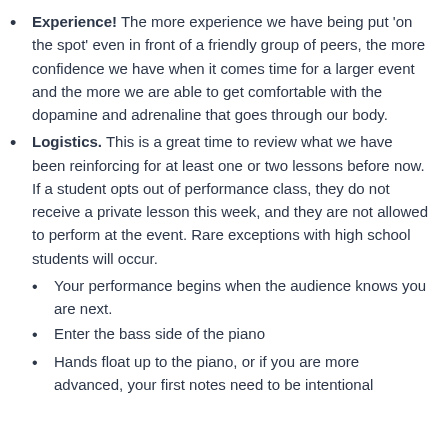Experience! The more experience we have being put 'on the spot' even in front of a friendly group of peers, the more confidence we have when it comes time for a larger event and the more we are able to get comfortable with the dopamine and adrenaline that goes through our body.
Logistics. This is a great time to review what we have been reinforcing for at least one or two lessons before now. If a student opts out of performance class, they do not receive a private lesson this week, and they are not allowed to perform at the event. Rare exceptions with high school students will occur.
Your performance begins when the audience knows you are next.
Enter the bass side of the piano
Hands float up to the piano, or if you are more advanced, your first notes need to be intentional